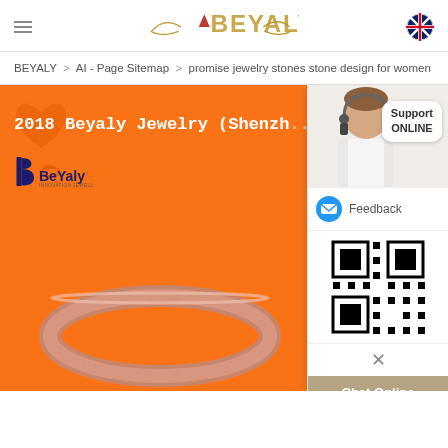BEYALY (logo) with hamburger menu and UK flag
BEYALY > AI - Page Sitemap > promise jewelry stones stone design for women
[Figure (screenshot): Product page showing a rose gold diamond eternity ring on an orange background with Beyaly Jewelry (Shenzhen) brand text and logo. A support chat overlay is visible on the right with an agent photo, Support ONLINE bubble, Feedback button, QR code, close X button, and Chat Online button.]